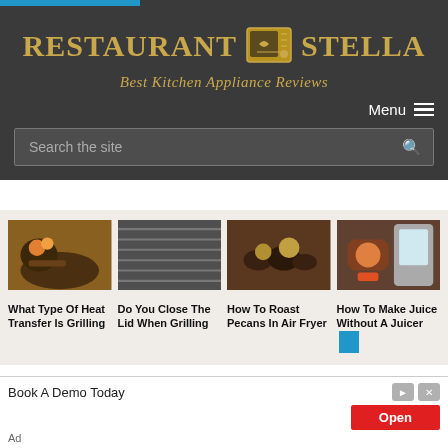[Figure (logo): Restaurant Stella logo with microwave icon and tagline 'Best Kitchen Appliance Reviews' on dark background]
Menu
Search the site
[Figure (photo): Food being fried in a pan]
[Figure (photo): Grill grate close-up]
[Figure (photo): Roasted pecans on dark wooden surface]
[Figure (photo): Blender with juice and fruits]
What Type Of Heat Transfer Is Grilling
Do You Close The Lid When Grilling
How To Roast Pecans In Air Fryer
How To Make Juice Without A Juicer
Book A Demo Today
Open
Ad